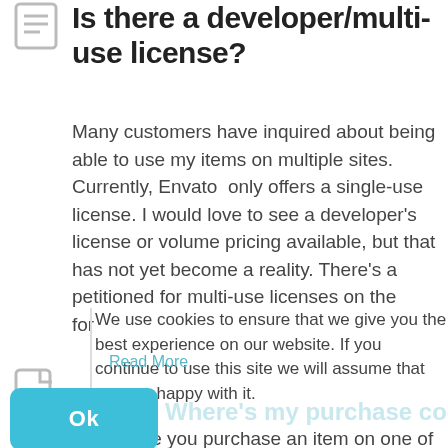Is there a developer/multi-use license?
Many customers have inquired about being able to use my items on multiple sites. Currently, Envato  only offers a single-use license. I would love to see a developer’s license or volume pricing available, but that has not yet become a reality. There’s a petitioned for multi-use licenses on the forum, but unfortunately there have not […]
Read More
We use cookies to ensure that we give you the best experience on our website. If you continue to use this site we will assume that you are happy with it.
Ok
Where’s my purchase code?
Every time you purchase an item on one of